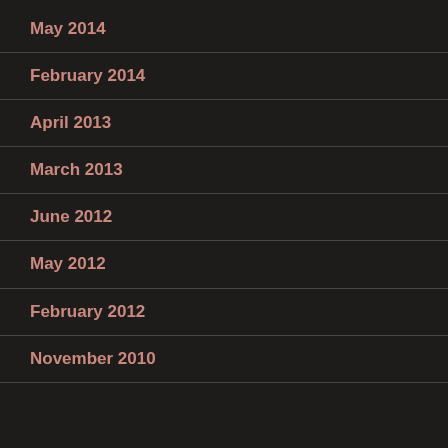May 2014
February 2014
April 2013
March 2013
June 2012
May 2012
February 2012
November 2010